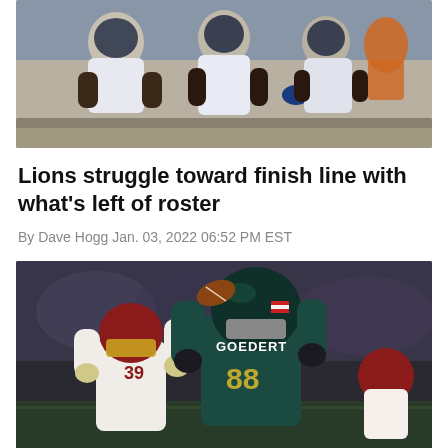[Figure (photo): Detroit Lions players sitting on bench, wearing white uniforms with blue accents, appearing dejected]
Lions struggle toward finish line with what's left of roster
By Dave Hogg Jan. 03, 2022 06:52 PM EST
[Figure (photo): Philadelphia Eagles tight end Goedert (#88) in dark teal uniform catching football over Washington Football Team defender #39 in white and burgundy uniform, nighttime game]